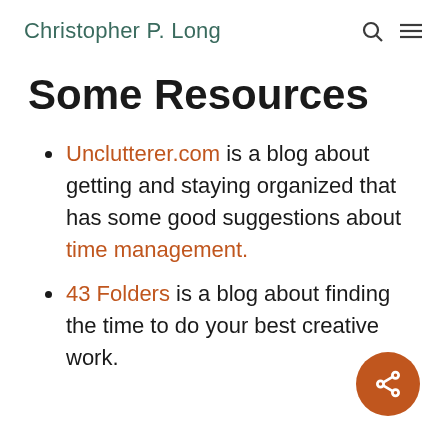Christopher P. Long
Some Resources
Unclutterer.com is a blog about getting and staying organized that has some good suggestions about time management.
43 Folders is a blog about finding the time to do your best creative work.